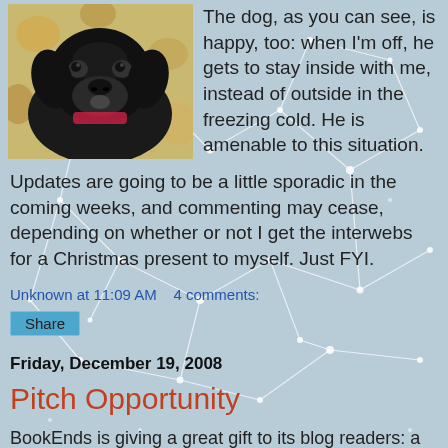[Figure (photo): Photo of a black dog lying on a floral-patterned surface, looking at the camera]
The dog, as you can see, is happy, too: when I'm off, he gets to stay inside with me, instead of outside in the freezing cold. He is amenable to this situation.
Updates are going to be a little sporadic in the coming weeks, and commenting may cease, depending on whether or not I get the interwebs for a Christmas present to myself. Just FYI.
Unknown at 11:09 AM    4 comments:
Share
Friday, December 19, 2008
Pitch Opportunity
BookEnds is giving a great gift to its blog readers: a chance